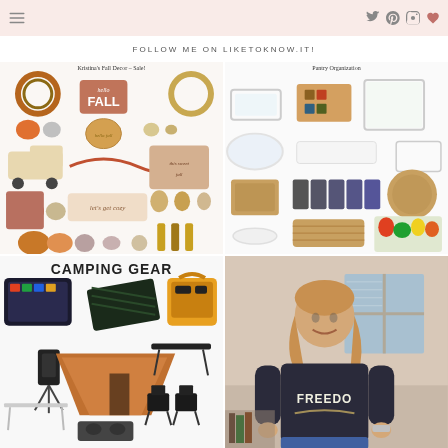FOLLOW ME ON LIKETOKNOW.IT!
[Figure (photo): Kristina's Fall Decor - Sale! Collection of fall decor items including wreaths, pumpkins, pillows, garlands, truck decoration, leaf decor on a white background]
[Figure (photo): Pantry Organization collection showing clear storage bins, wicker baskets, acrylic organizers, canisters, and pantry storage items on white background]
[Figure (photo): Camping Gear collection showing cooler with drinks, solar panel, portable power station, camping tent, folding camp table, camp chairs, and camp stove]
[Figure (photo): Woman wearing a dark FREEDOM graphic t-shirt with eagle design, smiling, indoors near a window]